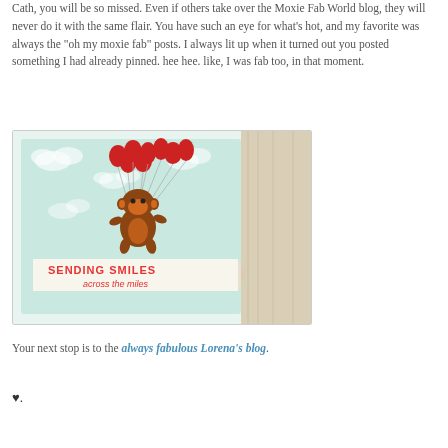Cath, you will be so missed.  Even if others take over the Moxie Fab World blog, they will never do it with the same flair.  You have such an eye for what's hot, and my favorite was always the "oh my moxie fab" posts.  I always lit up when it turned out you posted something I had already pinned.  hee hee.  like, I was fab too, in that moment.
[Figure (photo): A handmade greeting card showing a cartoon monkey floating with red balloons against a light blue sky with clouds. The card has a banner reading 'SENDING SMILES across the miles'. The card is photographed at an angle on a wooden surface.]
Your next stop is to the always fabulous Lorena's blog.
♥.